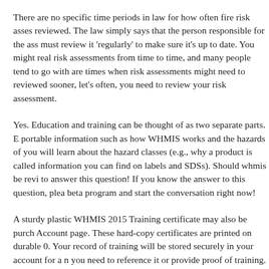There are no specific time periods in law for how often fire risk assessments need to be reviewed. The law simply says that the person responsible for the assessment must review it 'regularly' to make sure it's up to date. You might read about reviewing risk assessments from time to time, and many people tend to go with annually. There are times when risk assessments might need to reviewed sooner, let's look at how often, you need to review your risk assessment.
Yes. Education and training can be thought of as two separate parts. Education is portable information such as how WHMIS works and the hazards of materials, and you will learn about the hazard classes (e.g., why a product is called flammable, information you can find on labels and SDSs). Should whmis be reviewed we need to answer this question! If you know the answer to this question, please join the beta program and start the conversation right now!
A sturdy plastic WHMIS 2015 Training certificate may also be purchased from the Account page. These hard-copy certificates are printed on durable 0.30 mil plastic. Your record of training will be stored securely in your account for a number of years you need to reference it or provide proof of training. The You might need...